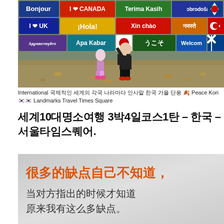[Figure (photo): Two people (an adult and a child) standing in front of colorful multilingual welcome signs with various national flags. Signs show greetings in multiple languages: Bonjour, I Love CANADA, Terima Kasih, Dobrodošao, I Love UK, ¡Hola!, Xin chào, Namaste, Zdravstvuyte, Apa Kabar, Yokoso (うこそ), Welcome. Autumn setting with fallen leaves on ground.]
International 국제적인 세계의 각국 나라마다 인사말 한국 가을 단풍 🍂 Peace Kori🇰🇷🇰🇷 Landmarks Travel Times Square
세계10대명소여행 3박4일코스1탄 – 한국 – 서울타임스퀘어.
[Figure (photo): Image with Chinese text on a gray/silver background. Orange bold text reads: 很多的缺点自己不知道, (Many shortcomings you don't know about yourself,) followed by dark gray text: 当对方指出的时候才知道 原来我有这么多缺点。(Only when the other person points them out do you realize you have so many shortcomings.)]